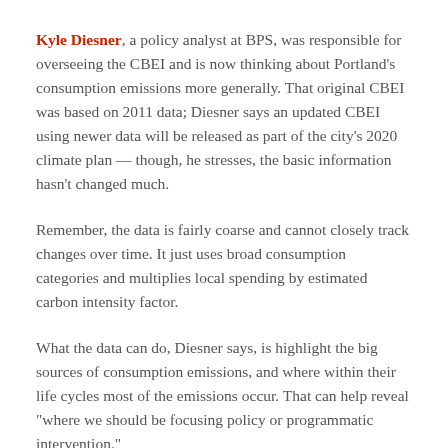Kyle Diesner, a policy analyst at BPS, was responsible for overseeing the CBEI and is now thinking about Portland's consumption emissions more generally. That original CBEI was based on 2011 data; Diesner says an updated CBEI using newer data will be released as part of the city's 2020 climate plan — though, he stresses, the basic information hasn't changed much.
Remember, the data is fairly coarse and cannot closely track changes over time. It just uses broad consumption categories and multiplies local spending by estimated carbon intensity factor.
What the data can do, Diesner says, is highlight the big sources of consumption emissions, and where within their life cycles most of the emissions occur. That can help reveal "where we should be focusing policy or programmatic intervention."